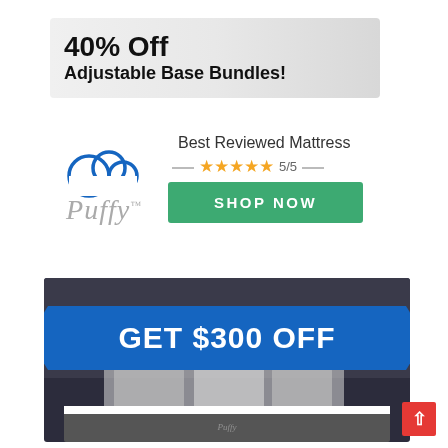[Figure (other): Promotional banner: '40% Off Adjustable Base Bundles!' with light grey gradient background]
[Figure (logo): Puffy mattress brand logo with cloud icon and italic 'Puffy' text]
Best Reviewed Mattress
★★★★★ 5/5
SHOP NOW
[Figure (photo): Puffy mattress product photo with blue ribbon banner reading 'GET $300 OFF' overlaid on dark bedroom background]
GET $300 OFF